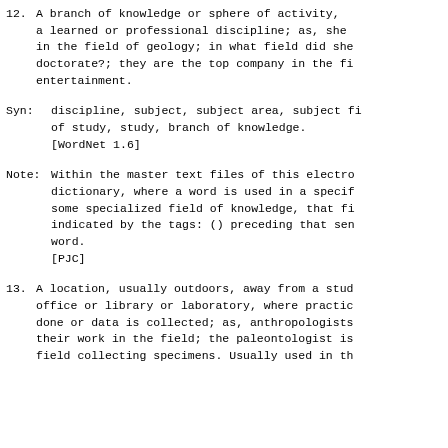12. A branch of knowledge or sphere of activity, e.g. a learned or professional discipline; as, she in the field of geology; in what field did she doctorate?; they are the top company in the fi entertainment.
Syn: discipline, subject, subject area, subject fi of study, study, branch of knowledge. [WordNet 1.6]
Note: Within the master text files of this electro dictionary, where a word is used in a specif some specialized field of knowledge, that fi indicated by the tags: () preceding that sen word. [PJC]
13. A location, usually outdoors, away from a stud office or library or laboratory, where practic done or data is collected; as, anthropologists their work in the field; the paleontologist is field collecting specimens. Usually used in th